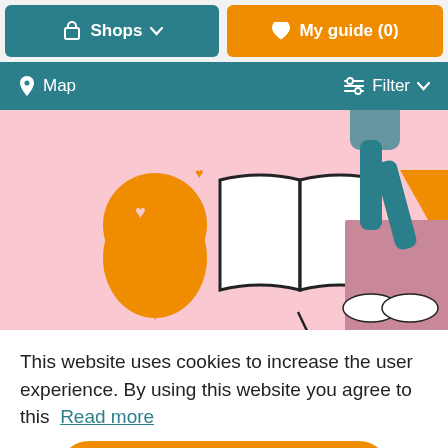[Figure (screenshot): Top navigation bar with Shops dropdown button (teal) and My guide (0) button (orange)]
[Figure (screenshot): Secondary nav bar with Map (pin icon) on left and Filter dropdown on right, teal background]
[Figure (illustration): Illustration on pink background: orange map pin with heart, open book, orange downward triangle, person walking in teal pants]
wn
This website uses cookies to increase the user experience. By using this website you agree to this  Read more
[Figure (screenshot): Orange Close button and orange circular up-arrow FAB button]